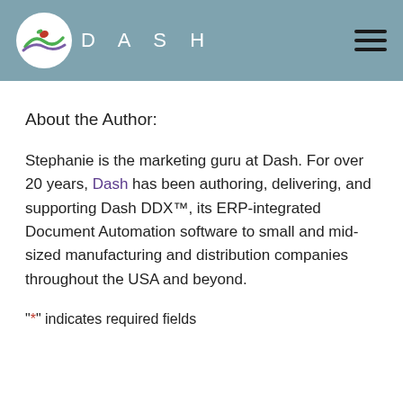DASH
About the Author:
Stephanie is the marketing guru at Dash. For over 20 years, Dash has been authoring, delivering, and supporting Dash DDX™, its ERP-integrated Document Automation software to small and mid-sized manufacturing and distribution companies throughout the USA and beyond.
"*" indicates required fields